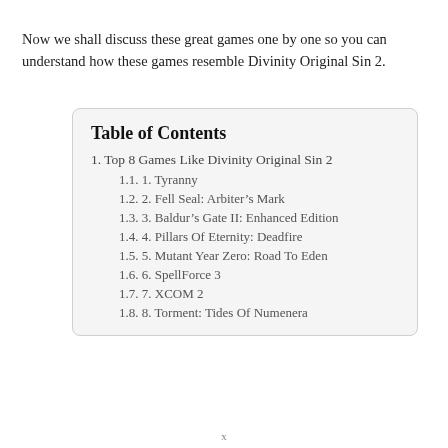Now we shall discuss these great games one by one so you can understand how these games resemble Divinity Original Sin 2.
| Table of Contents |
| 1. Top 8 Games Like Divinity Original Sin 2 |
| 1.1. 1. Tyranny |
| 1.2. 2. Fell Seal: Arbiter's Mark |
| 1.3. 3. Baldur's Gate II: Enhanced Edition |
| 1.4. 4. Pillars Of Eternity: Deadfire |
| 1.5. 5. Mutant Year Zero: Road To Eden |
| 1.6. 6. SpellForce 3 |
| 1.7. 7. XCOM 2 |
| 1.8. 8. Torment: Tides Of Numenera |
x